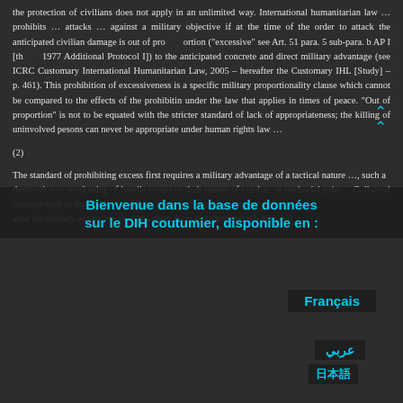the protection of civilians does not apply in an unlimited way. International humanitarian law … prohibits … attacks … against a military objective if at the time of the order to attack the anticipated civilian damage is out of proportion ("excessive" see Art. 51 para. 5 sub-para. b AP I [the 1977 Additional Protocol I]) to the anticipated concrete and direct military advantage (see ICRC Customary International Humanitarian Law, 2005 – hereafter the Customary IHL [Study] – p. 461). This prohibition of excessiveness is a specific military proportionality clause which cannot be compared to the effects of the prohibition under the law that applies in times of peace. "Out of proportion" is not to be equated with the stricter standard of lack of appropriateness; the killing of uninvolved persons can never be appropriate under human rights law …
(2)
The standard of prohibiting excess first requires a military advantage of a tactical nature …, such as the destruction or weakening of hostile troops or their means of combat, or territorial gain … Collateral damage such as the death of civilians is not out of proportion merely because the military advantage is only a short-term advantage which does not
[Figure (screenshot): Overlay popup: 'Bienvenue dans la base de données sur le DIH coutumier, disponible en:' with language links: Français, عربي, 日本語, English, Español in cyan text on dark background]